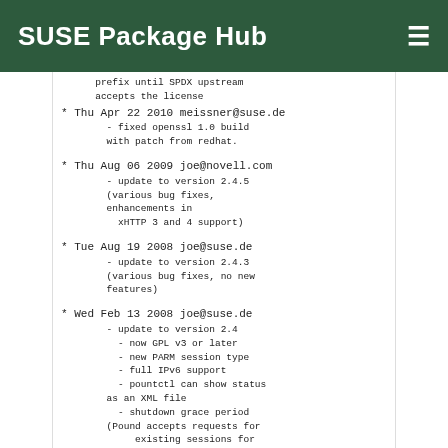SUSE Package Hub
prefix until SPDX upstream accepts the license
* Thu Apr 22 2010 meissner@suse.de
    - fixed openssl 1.0 build with patch from redhat.
* Thu Aug 06 2009 joe@novell.com
    - update to version 2.4.5 (various bug fixes, enhancements in xHTTP 3 and 4 support)
* Tue Aug 19 2008 joe@suse.de
    - update to version 2.4.3 (various bug fixes, no new features)
* Wed Feb 13 2008 joe@suse.de
    - update to version 2.4
      - now GPL v3 or later
      - new PARM session type
      - full IPv6 support
      - pountctl can show status as an XML file
      - shutdown grace period (Pound accepts requests for existing sessions for some time instead of doing a hard shutdown)